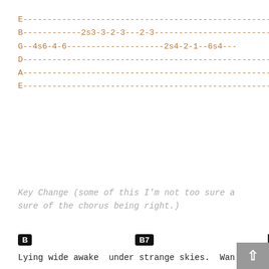E---------------------------------------------------
B------------2s3-3-2-3---2-3------------------------
G--4s6-4-6--------------------2s4-2-1--6s4---
D---------------------------------------------------
A---------------------------------------------------
E---------------------------------------------------
Key Change (some of this I'm not too sure a sure of the chorus being right.)
B   B7
Lying wide awake  under strange skies.  Wan
   C#m
but it is late at night.
F#   B   E
And you're far away, but you are
C#m         Em         B
Always on my mind.  You are always on my mi